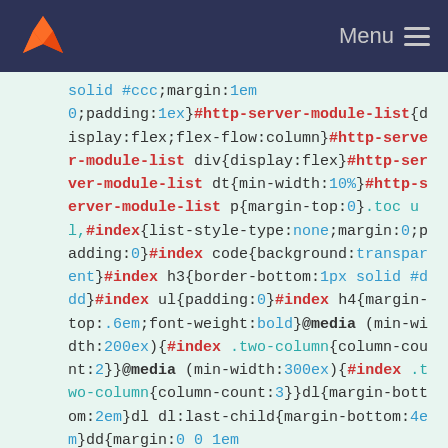Menu
[Figure (screenshot): CSS code snippet showing minified CSS rules for #http-server-module-list, .toc ul, #index, @media queries, dl, and dd selectors displayed on a light green background]